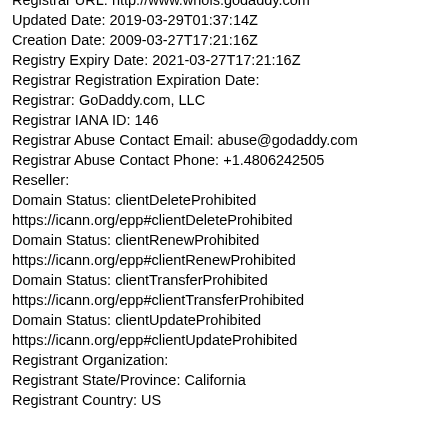Registrar URL: http://www.whois.godaddy.com
Updated Date: 2019-03-29T01:37:14Z
Creation Date: 2009-03-27T17:21:16Z
Registry Expiry Date: 2021-03-27T17:21:16Z
Registrar Registration Expiration Date:
Registrar: GoDaddy.com, LLC
Registrar IANA ID: 146
Registrar Abuse Contact Email: abuse@godaddy.com
Registrar Abuse Contact Phone: +1.4806242505
Reseller:
Domain Status: clientDeleteProhibited
https://icann.org/epp#clientDeleteProhibited
Domain Status: clientRenewProhibited
https://icann.org/epp#clientRenewProhibited
Domain Status: clientTransferProhibited
https://icann.org/epp#clientTransferProhibited
Domain Status: clientUpdateProhibited
https://icann.org/epp#clientUpdateProhibited
Registrant Organization:
Registrant State/Province: California
Registrant Country: US